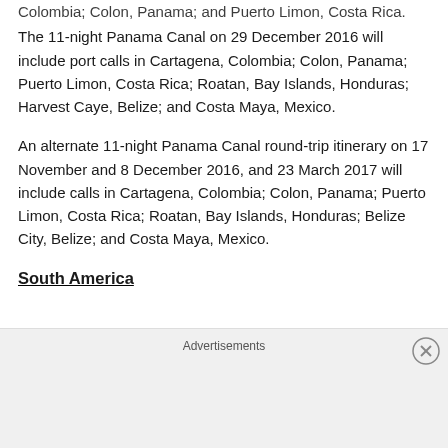Colombia; Colon, Panama; and Puerto Limon, Costa Rica.
The 11-night Panama Canal on 29 December 2016 will include port calls in Cartagena, Colombia; Colon, Panama; Puerto Limon, Costa Rica; Roatan, Bay Islands, Honduras; Harvest Caye, Belize; and Costa Maya, Mexico.
An alternate 11-night Panama Canal round-trip itinerary on 17 November and 8 December 2016, and 23 March 2017 will include calls in Cartagena, Colombia; Colon, Panama; Puerto Limon, Costa Rica; Roatan, Bay Islands, Honduras; Belize City, Belize; and Costa Maya, Mexico.
South America
Advertisements